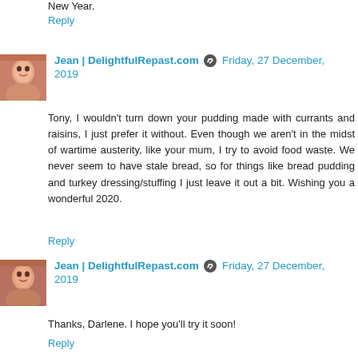New Year.
Reply
Jean | DelightfulRepast.com  Friday, 27 December, 2019
Tony, I wouldn't turn down your pudding made with currants and raisins, I just prefer it without. Even though we aren't in the midst of wartime austerity, like your mum, I try to avoid food waste. We never seem to have stale bread, so for things like bread pudding and turkey dressing/stuffing I just leave it out a bit. Wishing you a wonderful 2020.
Reply
Jean | DelightfulRepast.com  Friday, 27 December, 2019
Thanks, Darlene. I hope you'll try it soon!
Reply